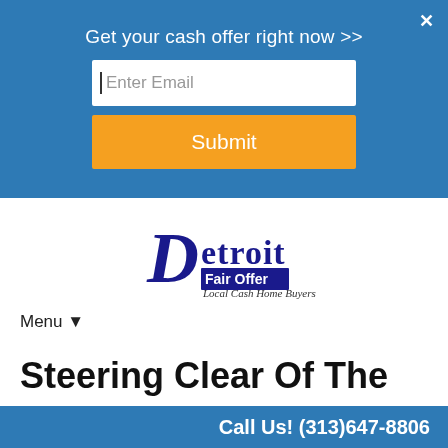Get your cash offer right now >>
[Figure (screenshot): Email input field with placeholder text 'Enter Email' and cursor]
Submit
[Figure (logo): Detroit Fair Offer logo - Local Cash Home Buyers]
Menu ▼
Steering Clear Of The
Call Us! (313)647-8806